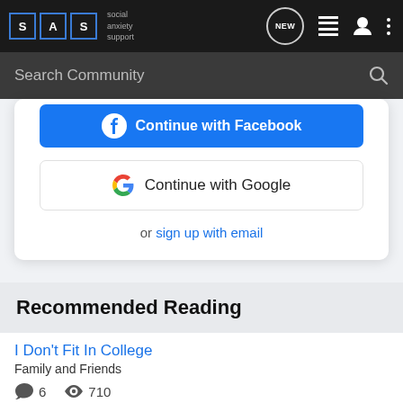[Figure (screenshot): Social Anxiety Support (SAS) website navbar with logo, NEW bubble, list icon, user icon, and dots menu on dark background]
[Figure (screenshot): Dark search bar with 'Search Community' placeholder text and magnifying glass icon]
[Figure (screenshot): Partially visible Facebook login button (blue, cut off at top)]
[Figure (screenshot): Continue with Google button (white with Google G logo)]
or sign up with email
Recommended Reading
I Don't Fit In College
Family and Friends
6  710
nexus321 · updated Oct 22, 2014